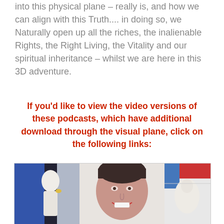into this physical plane – really is, and how we can align with this Truth.... in doing so, we Naturally open up all the riches, the inalienable Rights, the Right Living, the Vitality and our spiritual inheritance – whilst we are here in this 3D adventure.
If you'd like to view the video versions of these podcasts, which have additional download through the visual plane, click on the following links:
[Figure (photo): Video thumbnail showing a woman with short dark hair smiling at the camera, with artistic sculptures visible in the background including a blue and white figure on the left and a white sculptural figure on the right.]